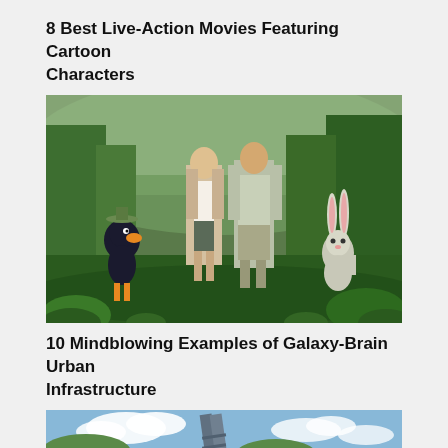8 Best Live-Action Movies Featuring Cartoon Characters
[Figure (photo): Movie still showing two live-action actors (a woman in white top and shorts, a man in beige shirt) standing in a jungle setting, flanked by animated cartoon characters: Daffy Duck on the left wearing a hat, and Bugs Bunny on the right.]
10 Mindblowing Examples of Galaxy-Brain Urban Infrastructure
[Figure (photo): Photo of a tall escalator or staircase structure rising above green trees against a blue sky with clouds.]